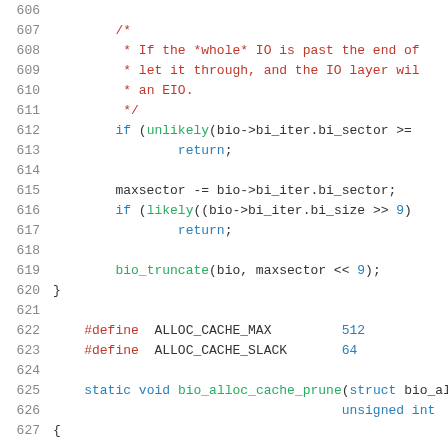Source code listing lines 606-627, showing C code for bio IO handling and alloc cache definitions